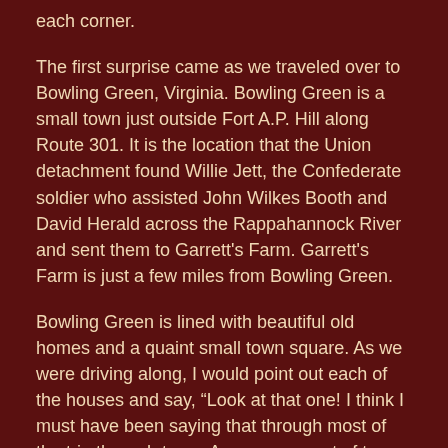each corner.
The first surprise came as we traveled over to Bowling Green, Virginia. Bowling Green is a small town just outside Fort A.P. Hill along Route 301. It is the location that the Union detachment found Willie Jett, the Confederate soldier who assisted John Wilkes Booth and David Herald across the Rappahannock River and sent them to Garrett's Farm. Garrett's Farm is just a few miles from Bowling Green.
Bowling Green is lined with beautiful old homes and a quaint small town square. As we were driving along, I would point out each of the houses and say, “Look at that one! I think I must have been saying that through most of the trip through town. As we came out of town just by the exit to I-95, we decided to turn around and go back through. That is when I caught sight of a home I missed just minutes before.
Sitting back behind a beautiful entry gate and a long drive and green sat what looked like a colonial home. There was a sign on the gate saying “Estate Sale” with Friday, Saturday and Sunday’s date. I quickly asked Brett to turn around. I told him we had to go.